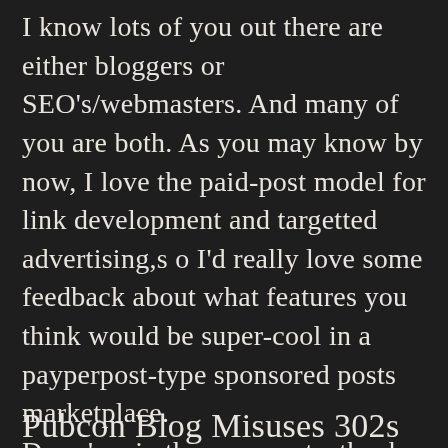I know lots of you out there are either bloggers or SEO's/webmasters. And many of you are both. As you may know by now, I love the paid-post model for link development and targetted advertising,s o I'd really love some feedback about what features you think would be super-cool in a payperpost-type sponsored posts marketplace.
Drop 'em in the comments, thanks.
Pubcon Blog Misuses 302s